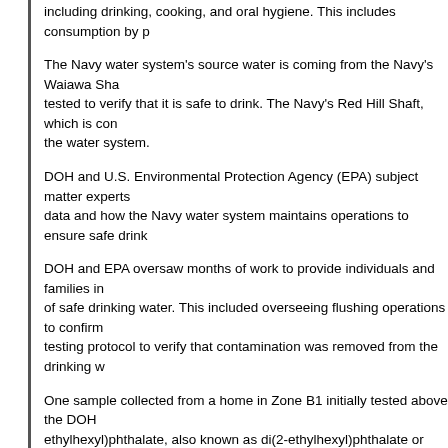including drinking, cooking, and oral hygiene. This includes consumption by p...
The Navy water system's source water is coming from the Navy's Waiawa Sha... tested to verify that it is safe to drink. The Navy's Red Hill Shaft, which is con... the water system.
DOH and U.S. Environmental Protection Agency (EPA) subject matter experts... data and how the Navy water system maintains operations to ensure safe drink...
DOH and EPA oversaw months of work to provide individuals and families in... of safe drinking water. This included overseeing flushing operations to confirm... testing protocol to verify that contamination was removed from the drinking w...
One sample collected from a home in Zone B1 initially tested above the DOH... ethylhexyl)phthalate, also known as di(2-ethylhexyl)phthalate or DEHP. The h... Subsequently, all sampled homes and buildings meet DOH's DEHP screening...
An independent, third-party laboratory incorrectly reported the presence of bis... samples in Zones B1 and H1. The Interagency Drinking Water System Team (I... agreement with the laboratory, that the initial BCEE results were a false-positi... and DOH concur with this conclusion. The IDWST resampled all locations wh... laboratory reviewed the original samples and the new samples and did not dete...
The IDWST's joint plan to draw samples from more than 900, or at least 10%... child development centers on the overall Navy water system provides accurat...